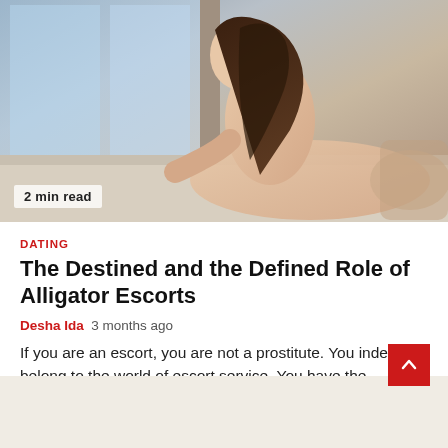[Figure (photo): Hero image of a young woman in an indoor setting, partially clothed, posing on a light-colored surface near a window. Badge overlay reads '2 min read'.]
DATING
The Destined and the Defined Role of Alligator Escorts
Desha Ida  3 months ago
If you are an escort, you are not a prostitute. You indeed belong to the world of escort service. You have the specialties in the... Read More
[Figure (photo): Partial view of a second article's thumbnail image at the bottom of the page showing a young woman with brown hair against a light background.]